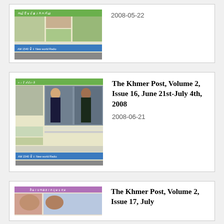[Figure (other): Thumbnail of a Khmer-language newspaper front page with green header and blue banner reading 'New world Radio AM 1540']
2008-05-22
[Figure (other): Thumbnail of The Khmer Post issue featuring two men (McCain and Obama) on the front page with green and blue layout. Blue banner at bottom: 'New world Radio AM 1540']
The Khmer Post, Volume 2, Issue 16, June 21st-July 4th, 2008
2008-06-21
[Figure (other): Thumbnail of The Khmer Post issue with purple/pink header bar and group photo]
The Khmer Post, Volume 2, Issue 17, July